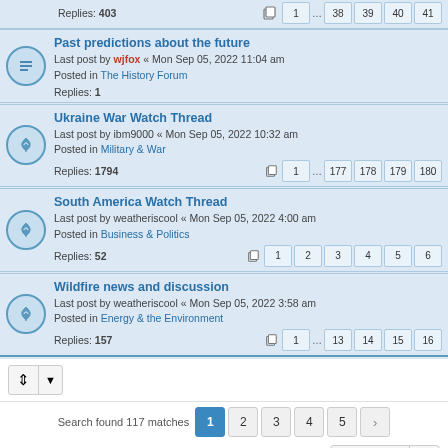Replies: 403 | pages: 1 ... 38 39 40 41
Past predictions about the future
Last post by wjfox « Mon Sep 05, 2022 11:04 am
Posted in The History Forum
Replies: 1
Ukraine War Watch Thread
Last post by ibm9000 « Mon Sep 05, 2022 10:32 am
Posted in Military & War
Replies: 1794 | pages: 1 ... 177 178 179 180
South America Watch Thread
Last post by weatheriscool « Mon Sep 05, 2022 4:00 am
Posted in Business & Politics
Replies: 52 | pages: 1 2 3 4 5 6
Wildfire news and discussion
Last post by weatheriscool « Mon Sep 05, 2022 3:58 am
Posted in Energy & the Environment
Replies: 157 | pages: 1 ... 13 14 15 16
Search found 117 matches | pages: 1 2 3 4 5 >
Home · Board index | Contact us | Delete cookies | All times are UTC